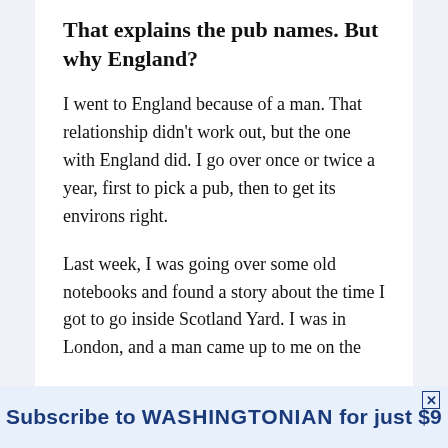That explains the pub names. But why England?
I went to England because of a man. That relationship didn’t work out, but the one with England did. I go over once or twice a year, first to pick a pub, then to get its environs right.
Last week, I was going over some old notebooks and found a story about the time I got to go inside Scotland Yard. I was in London, and a man came up to me on the
Subscribe to WASHINGTONIAN for just $9